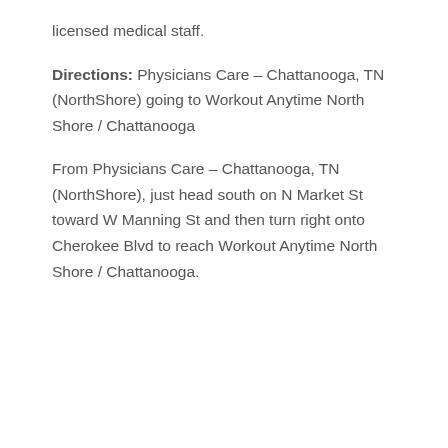licensed medical staff.
Directions: Physicians Care – Chattanooga, TN (NorthShore) going to Workout Anytime North Shore / Chattanooga
From Physicians Care – Chattanooga, TN (NorthShore), just head south on N Market St toward W Manning St and then turn right onto Cherokee Blvd to reach Workout Anytime North Shore / Chattanooga.